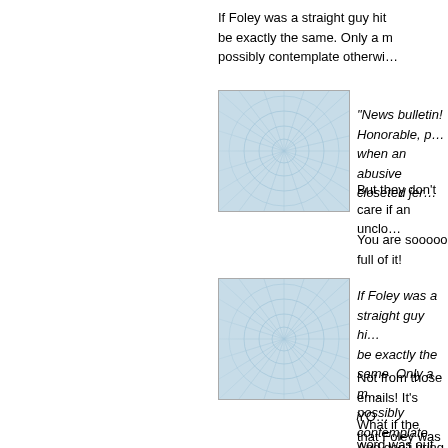If Foley was a straight guy hitting on female pages, your outrage would be exactly the same. Only a moron or a partisan hack could possibly contemplate otherwise.
[Figure (illustration): Avatar thumbnail: light blue abstract design with radial pattern]
"News bulletin! Honorable, pr... when an abusive closeted jer...
But they don't care if an unclo...
You are sooooo full of it!
[Figure (illustration): Avatar thumbnail: light blue abstract design with radial pattern]
If Foley was a straight guy hi... be exactly the same. Only a m... possibly contemplate otherwi...
Not from those emails! It's YO... that Foley was gay and they s...
What if the word was out that...
And don't bring up that stupid...